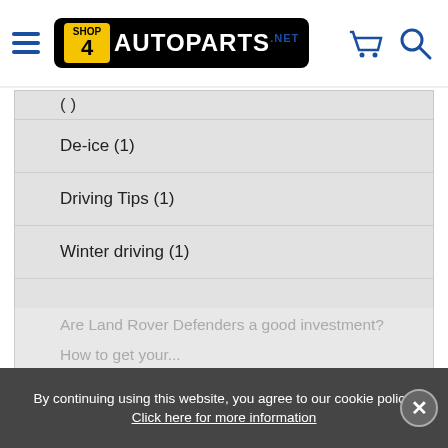Shop4AutoParts.net - navigation header with hamburger menu, logo, basket and search icons
( )
De-ice (1)
Driving Tips (1)
Winter driving (1)
Latest Posts
Should you buy winter tyres for your car?
Winter Driving Tips: Driving safely in the snow
How to de-ice a car
How often should I change the oil?
Are Land Rover Defenders a good investment?
How to get your...
By continuing using this website, you agree to our cookie policy. Click here for more information